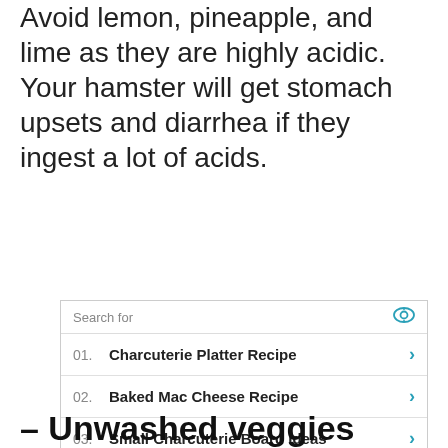Avoid lemon, pineapple, and lime as they are highly acidic. Your hamster will get stomach upsets and diarrhea if they ingest a lot of acids.
[Figure (infographic): Search ad box with 5 listed links: 01. Charcuterie Platter Recipe, 02. Baked Mac Cheese Recipe, 03. Small Charcuterie Board Ideas, 04. Top 10 Charcuterie Boards, 05. Easy Charcuterie Ideas]
– Unwashed veggies